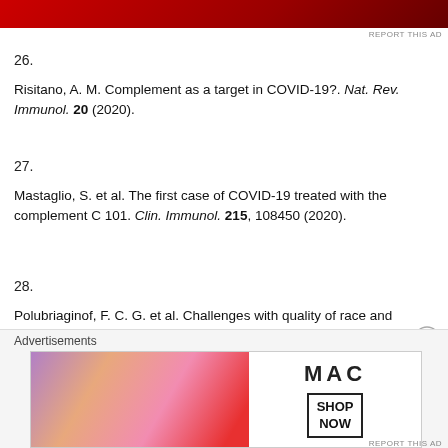[Figure (photo): Red advertisement banner at top of page]
26.
Risitano, A. M. Complement as a target in COVID-19?. Nat. Rev. Immunol. 20 (2020).
27.
Mastaglio, S. et al. The first case of COVID-19 treated with the complement C 101. Clin. Immunol. 215, 108450 (2020).
28.
Polubriaginof, F. C. G. et al. Challenges with quality of race and ethnicity data databases. J. Am. Med. Inf. Assoc. 26, 730–736 (2019).
Advertisements
[Figure (photo): MAC cosmetics advertisement showing lipsticks with SHOP NOW button]